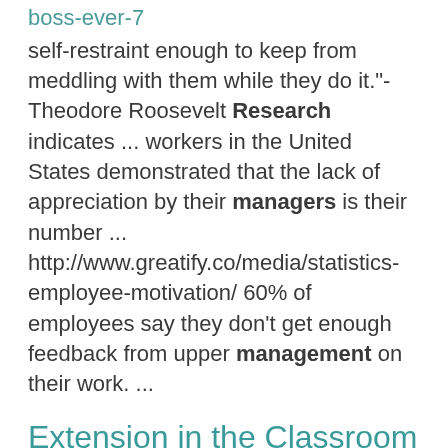boss-ever-7
self-restraint enough to keep from meddling with them while they do it."- Theodore Roosevelt Research indicates ... workers in the United States demonstrated that the lack of appreciation by their managers is their number ... http://www.greatify.co/media/statistics-employee-motivation/ 60% of employees say they don't get enough feedback from upper management on their work. ...
Extension in the Classroom
https://mahoning.osu.edu/program-areas/4-h-youth-development/extension-classroom